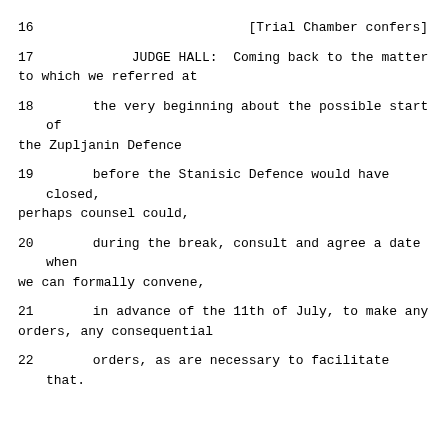16                                    [Trial Chamber confers]
17             JUDGE HALL:  Coming back to the matter to which we referred at
18      the very beginning about the possible start of the Zupljanin Defence
19      before the Stanisic Defence would have closed, perhaps counsel could,
20      during the break, consult and agree a date when we can formally convene,
21      in advance of the 11th of July, to make any orders, any consequential
22      orders, as are necessary to facilitate that.